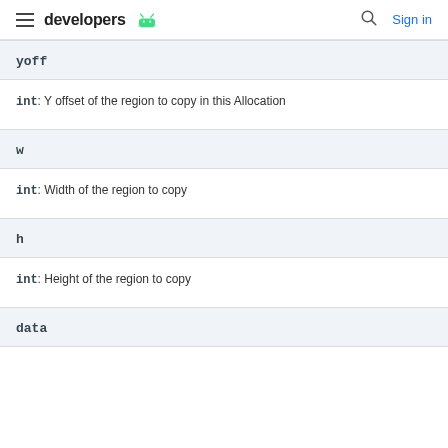developers
yoff
int: Y offset of the region to copy in this Allocation
w
int: Width of the region to copy
h
int: Height of the region to copy
data